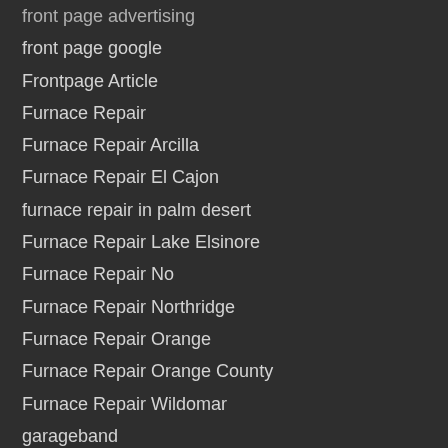front page advertising
front page google
Frontpage Article
Furnace Repair
Furnace Repair Arcilla
Furnace Repair El Cajon
furnace repair in palm desert
Furnace Repair Lake Elsinore
Furnace Repair No
Furnace Repair Northridge
Furnace Repair Orange
Furnace Repair Orange County
Furnace Repair Wildomar
garageband
General contractors
Glend
Glendale Solar Energy Contractor